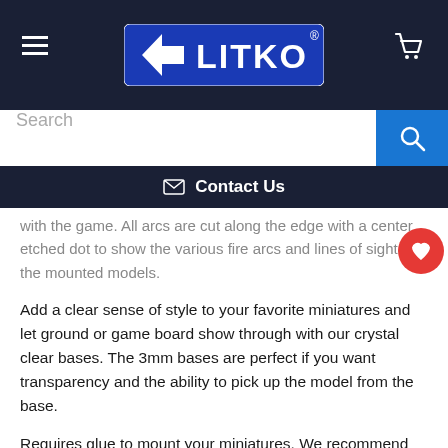LITKO (logo)
Search
Contact Us
with the game. All arcs are cut along the edge with a center etched dot to show the various fire arcs and lines of sight for the mounted models.
Add a clear sense of style to your favorite miniatures and let ground or game board show through with our crystal clear bases. The 3mm bases are perfect if you want transparency and the ability to pick up the model from the base.
Requires glue to mount your miniatures. We recommend our Craftics #33 cement for all our acrylic parts.
*LITKO Circular Notched Bases are compatible with SW: Legion Miniatures Game by Fantasy Flight Publishing, Inc. LITKO Game